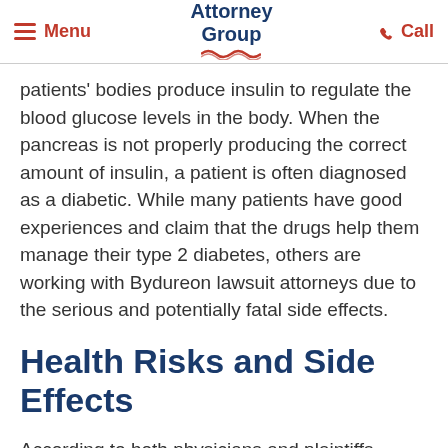Menu | Attorney Group | Call
patients' bodies produce insulin to regulate the blood glucose levels in the body. When the pancreas is not properly producing the correct amount of insulin, a patient is often diagnosed as a diabetic. While many patients have good experiences and claim that the drugs help them manage their type 2 diabetes, others are working with Bydureon lawsuit attorneys due to the serious and potentially fatal side effects.
Health Risks and Side Effects
According to both physicians and plaintiffs working with Bydureon lawsuit attorneys, the most common side effects of the drug include: